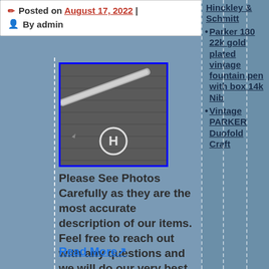Posted on August 17, 2022 | By admin
[Figure (photo): A photo thumbnail of a fountain pen on dark fabric with a circular logo, bordered in blue.]
Please See Photos Carefully as they are the most accurate description of our items. Feel free to reach out with any questions and we will do our very best to get back to you! Please check out our other items! This item is in the category “Collectibles\Pens & Writing Instruments\Pens\Fountain Pens\Parker”. The seller is “anthonyjustin”
Read More
Hinckley & Schmitt
Parker 180 22k gold plated vintage fountain pen with box 14k Nib
Vintage PARKER Duofold Craft